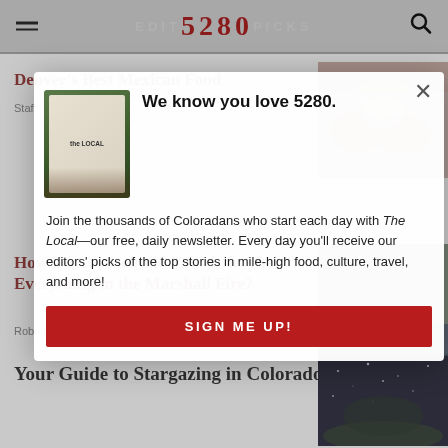EDITORS 5280 PICKS
Denver’s Best Mexican Food
Staff
[Figure (photo): Mexican food photo with bowls of food]
How Do You Rebuild Your Life After Losing Everything in the Marshall Fire?
Robert Sanchez
[Figure (photo): Landscape/outdoor scene]
[Figure (screenshot): Modal popup: We know you love 5280. Newsletter signup with phone image showing The Local app.]
Your Guide to Stargazing in Colorado
[Figure (photo): Night sky with stars over Colorado landscape]